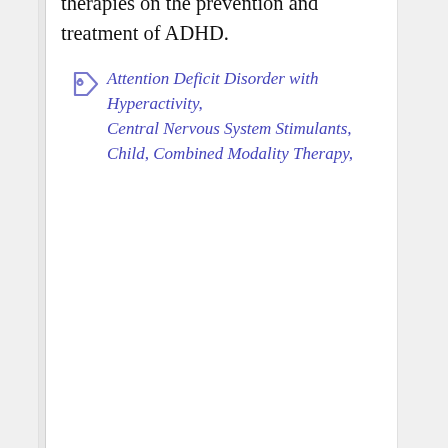Furthermore, the training was particularly effective for children undergoing pharmacotherapy (MPH). CONCLUSIONS: The findings from this pilot study demonstrate that yoga can be an effective complementary or concomitant treatment for attention-deficit hyperactivity disorder. The study advocates further research into the impact of yoga or body-oriented therapies on the prevention and treatment of ADHD.
Attention Deficit Disorder with Hyperactivity, Central Nervous System Stimulants, Child, Combined Modality Therapy,